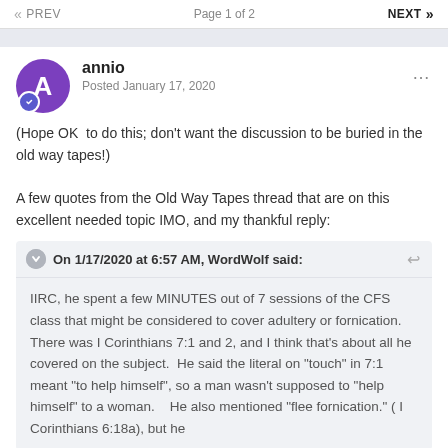« PREV   Page 1 of 2   NEXT »
(Hope OK  to do this; don't want the discussion to be buried in the old way tapes!)

A few quotes from the Old Way Tapes thread that are on this excellent needed topic IMO, and my thankful reply:
On 1/17/2020 at 6:57 AM, WordWolf said:

IIRC, he spent a few MINUTES out of 7 sessions of the CFS class that might be considered to cover adultery or fornication.  There was I Corinthians 7:1 and 2, and I think that's about all he covered on the subject.  He said the literal on "touch" in 7:1 meant "to help himself", so a man wasn't supposed to "help himself" to a woman.   He also mentioned "flee fornication." (I Corinthians 6:18a), but he